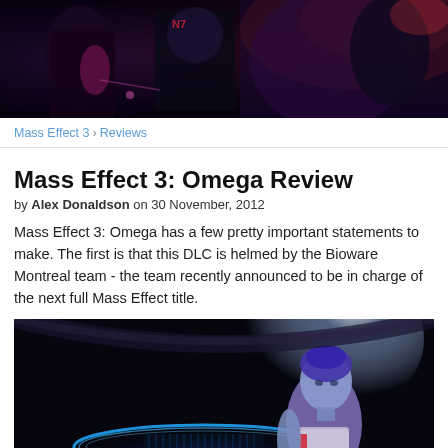[Figure (photo): Top banner image showing Mass Effect 3 game art with characters in action, dark purple/red tones, N7 armor visible]
Mass Effect 3 › Reviews
Mass Effect 3: Omega Review
by Alex Donaldson on 30 November, 2012
Mass Effect 3: Omega has a few pretty important statements to make. The first is that this DLC is helmed by the Bioware Montreal team - the team recently announced to be in charge of the next full Mass Effect title.
[Figure (photo): In-game screenshot showing a blue-skinned female character (Aria T'Loak) in a futuristic space station interior with glowing blue holographic ring, dark atmospheric lighting]